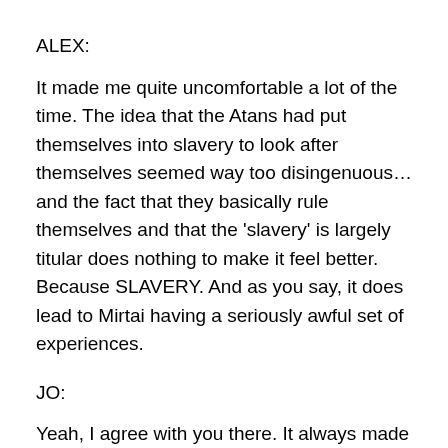ALEX:
It made me quite uncomfortable a lot of the time. The idea that the Atans had put themselves into slavery to look after themselves seemed way too disingenuous… and the fact that they basically rule themselves and that the ‘slavery’ is largely titular does nothing to make it feel better. Because SLAVERY. And as you say, it does lead to Mirtai having a seriously awful set of experiences.
JO:
Yeah, I agree with you there. It always made me feel uncomfortable. They whole “oh but they WANT to be slaves! They’re better off that way. No really, see if they weren't slaves they'd all kill each other” made my skin crawl.